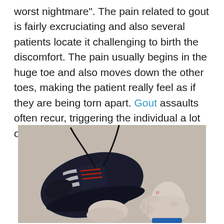worst nightmare". The pain related to gout is fairly excruciating and also several patients locate it challenging to birth the discomfort. The pain usually begins in the huge toe and also moves down the other toes, making the patient really feel as if they are being torn apart. Gout assaults often recur, triggering the individual a lot of discomfort.
[Figure (photo): Overhead view of two feet on a gray/tan surface. The left foot is wearing a dark navy/black athletic sneaker (Under Armour style) with white stripe accents, red laces detail, and loose black laces. The right foot is bare showing toes, heel and ankle, with a blue sleeve visible at the bottom edge.]